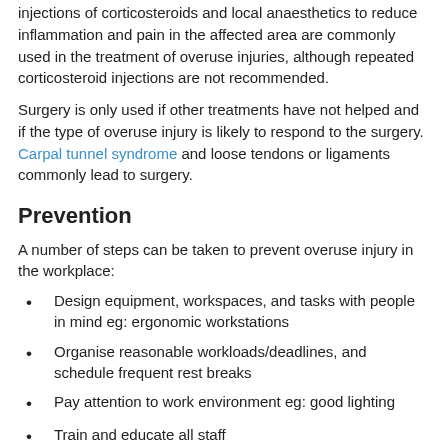injections of corticosteroids and local anaesthetics to reduce inflammation and pain in the affected area are commonly used in the treatment of overuse injuries, although repeated corticosteroid injections are not recommended.
Surgery is only used if other treatments have not helped and if the type of overuse injury is likely to respond to the surgery. Carpal tunnel syndrome and loose tendons or ligaments commonly lead to surgery.
Prevention
A number of steps can be taken to prevent overuse injury in the workplace:
Design equipment, workspaces, and tasks with people in mind eg: ergonomic workstations
Organise reasonable workloads/deadlines, and schedule frequent rest breaks
Pay attention to work environment eg: good lighting
Train and educate all staff
Use safe work methods.